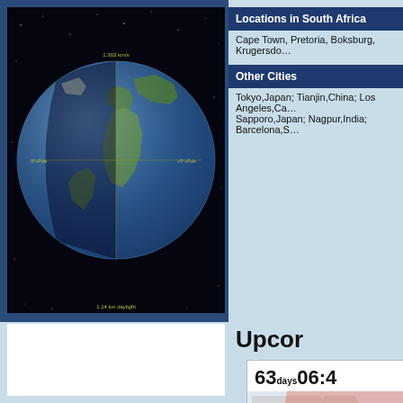[Figure (photo): Globe/Earth view from space showing continents with star background, rendered in a space simulation software]
Locations in South Africa
Cape Town, Pretoria, Boksburg, Krugersdorp…
Other Cities
Tokyo,Japan; Tianjin,China; Los Angeles,Ca…; Sapporo,Japan; Nagpur,India; Barcelona,S…
Upcoming…
[Figure (map): Eclipse map showing path over Earth with red shadow region over North America and Atlantic, partial view]
63days06:40…
Sun Eclipse 2022 over E…
Inanda, South A…
Th…